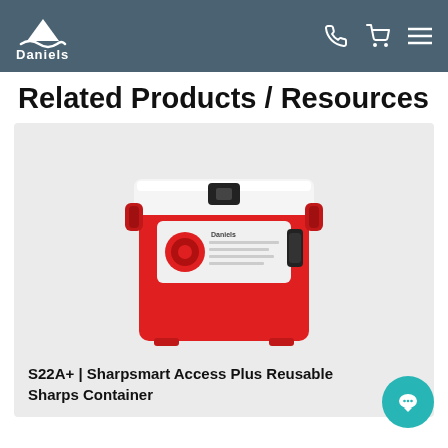Daniels
Related Products / Resources
[Figure (photo): Red and white Sharpsmart Access Plus reusable sharps container with locking lid and label panel on front]
S22A+ | Sharpsmart Access Plus Reusable Sharps Container